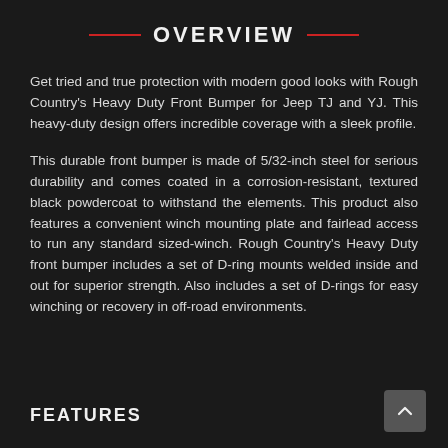OVERVIEW
Get tried and true protection with modern good looks with Rough Country's Heavy Duty Front Bumper for Jeep TJ and YJ. This heavy-duty design offers incredible coverage with a sleek profile.
This durable front bumper is made of 5/32-inch steel for serious durability and comes coated in a corrosion-resistant, textured black powdercoat to withstand the elements. This product also features a convenient winch mounting plate and fairlead access to run any standard sized-winch. Rough Country's Heavy Duty front bumper includes a set of D-ring mounts welded inside and out for superior strength. Also includes a set of D-rings for easy winching or recovery in off-road environments.
FEATURES